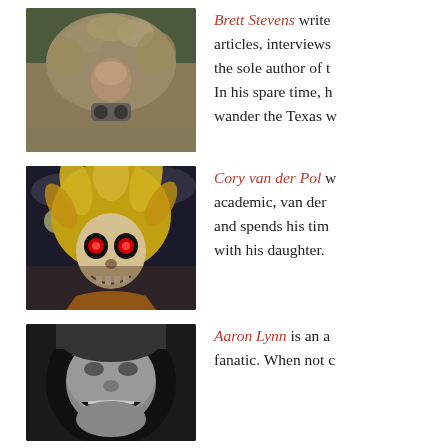[Figure (photo): Person wearing a ghillie suit camouflage, standing outdoors with trees in background]
Brett Stevens writes articles, interviews the sole author of t... In his spare time, h... wander the Texas w...
[Figure (photo): Iron Maiden zombie mascot Eddie with glowing red eyes and wild yellow hair against a dark cloudy sky background]
Cory van der Pol w... academic, van der ... and spends his tim... with his daughter.
[Figure (photo): Black and white close-up photo of a person with an open mouth expression]
Aaron Lynn is an a... fanatic. When not c...